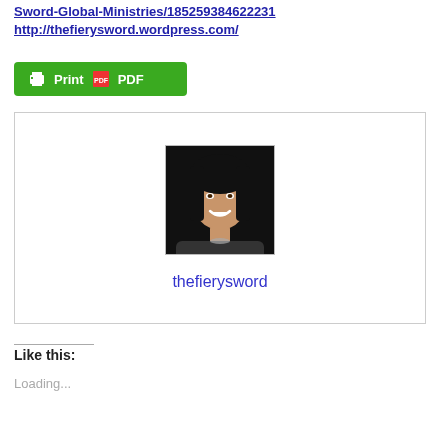Sword-Global-Ministries/185259384622231
http://thefierysword.wordpress.com/
[Figure (other): Green Print / PDF button with printer icon and PDF icon]
[Figure (photo): Profile card with a photo of a woman with dark hair smiling, and the username 'thefierysword' below]
Like this:
Loading...